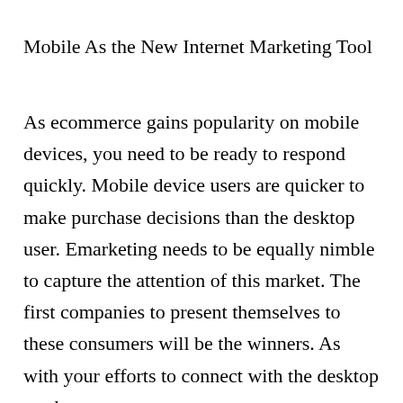Mobile As the New Internet Marketing Tool
As ecommerce gains popularity on mobile devices, you need to be ready to respond quickly. Mobile device users are quicker to make purchase decisions than the desktop user. Emarketing needs to be equally nimble to capture the attention of this market. The first companies to present themselves to these consumers will be the winners. As with your efforts to connect with the desktop market